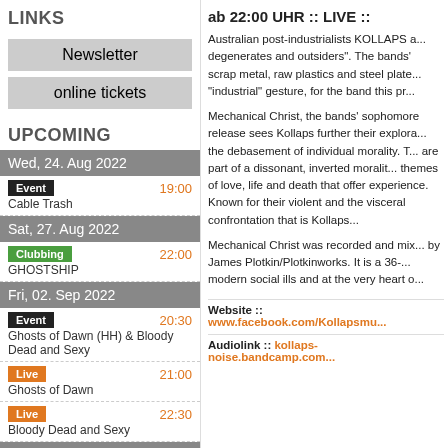LINKS
Newsletter
online tickets
UPCOMING
Wed, 24. Aug 2022
Event 19:00 Cable Trash
Sat, 27. Aug 2022
Clubbing 22:00 GHOSTSHIP
Fri, 02. Sep 2022
Event 20:30 Ghosts of Dawn (HH) & Bloody Dead and Sexy
Live 21:00 Ghosts of Dawn
Live 22:30 Bloody Dead and Sexy
Tue, 06. Sep 2022
ab 22:00 UHR :: LIVE ::
Australian post-industrialists KOLLAPS a... degenerates and outsiders". The bands' scrap metal, raw plastics and steel plate... "industrial" gesture, for the band this pr...
Mechanical Christ, the bands' sophomo... release sees Kollaps further their explora... the debasement of individual morality. T... are part of a dissonant, inverted moralit... themes of love, life and death that offer ... experience. Known for their violent and ... the visceral confrontation that is Kollaps...
Mechanical Christ was recorded and mix... by James Plotkin/Plotkinworks. It is a 36-... modern social ills and at the very heart o...
Website :: www.facebook.com/Kollapsmu...
Audiolink :: kollaps-noise.bandcamp.com...